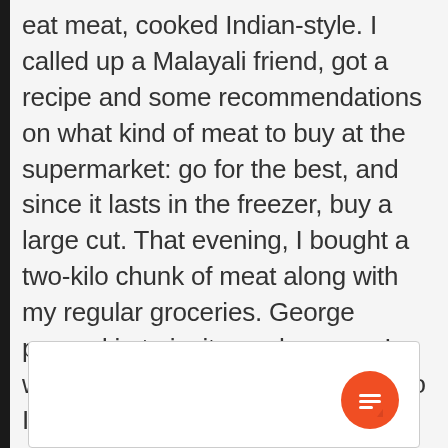eat meat, cooked Indian-style. I called up a Malayali friend, got a recipe and some recommendations on what kind of meat to buy at the supermarket: go for the best, and since it lasts in the freezer, buy a large cut. That evening, I bought a two-kilo chunk of meat along with my regular groceries. George popped in to invite me home as I was putting away my purchases, so I put the meat in the freezer and went over to his place.
[Figure (other): White comment/text input box with a rounded orange chat bubble button icon in the bottom-right corner]